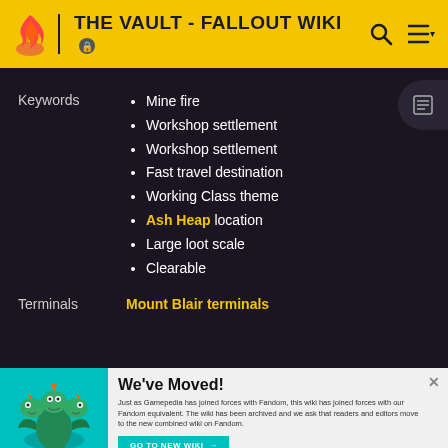THE VAULT - FALLOUT WIKI
Keywords
Mine fire
Workshop settlement
Workshop settlement
Fast travel destination
Working Class theme
Ash Heap location
Large loot scale
Clearable
Terminals
Mount Blair terminals
We've Moved! Just as Gamepedia has joined forces with Fandom, this wiki has joined forces with our Fandom equivalent. The wiki has been archived and we ask that readers and editors move to the new combined wiki on Fandom.